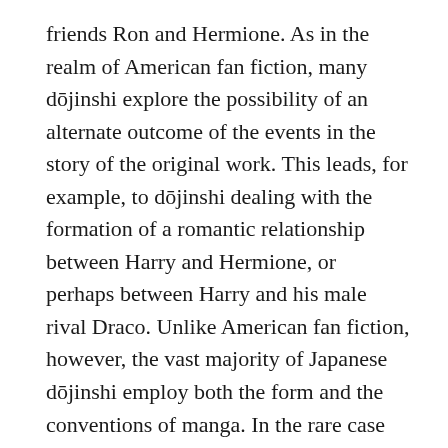friends Ron and Hermione. As in the realm of American fan fiction, many dōjinshi explore the possibility of an alternate outcome of the events in the story of the original work. This leads, for example, to dōjinshi dealing with the formation of a romantic relationship between Harry and Hermione, or perhaps between Harry and his male rival Draco. Unlike American fan fiction, however, the vast majority of Japanese dōjinshi employ both the form and the conventions of manga. In the rare case that fan fiction is published as a dōjinshi, it is often accompanied by illustrations that are either drawn by the writer or by an artist commissioned by the writer.